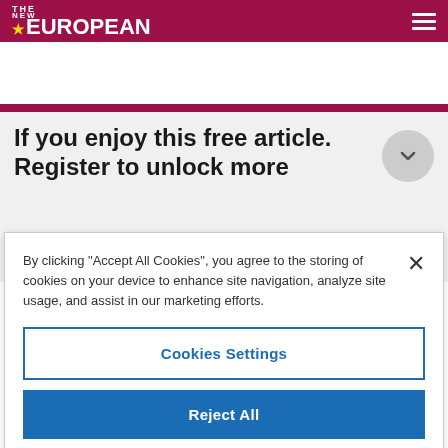THE NEW EUROPEAN
If you enjoy this free article. Register to unlock more
By clicking “Accept All Cookies”, you agree to the storing of cookies on your device to enhance site navigation, analyze site usage, and assist in our marketing efforts.
Cookies Settings
Reject All
Accept All Cookies